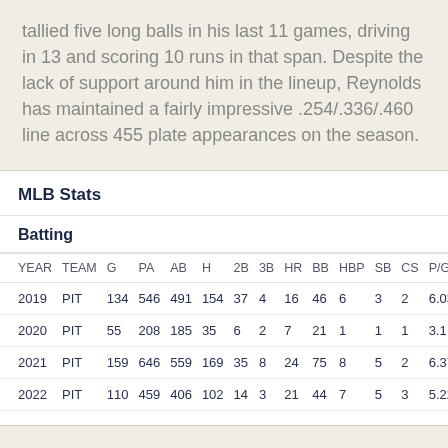tallied five long balls in his last 11 games, driving in 13 and scoring 10 runs in that span. Despite the lack of support around him in the lineup, Reynolds has maintained a fairly impressive .254/.336/.460 line across 455 plate appearances on the season.
MLB Stats
Batting
| YEAR | TEAM | G | PA | AB | H | 2B | 3B | HR | BB | HBP | SB | CS | P/G |
| --- | --- | --- | --- | --- | --- | --- | --- | --- | --- | --- | --- | --- | --- |
| 2019 | PIT | 134 | 546 | 491 | 154 | 37 | 4 | 16 | 46 | 6 | 3 | 2 | 6.03 |
| 2020 | PIT | 55 | 208 | 185 | 35 | 6 | 2 | 7 | 21 | 1 | 1 | 1 | 3.1 |
| 2021 | PIT | 159 | 646 | 559 | 169 | 35 | 8 | 24 | 75 | 8 | 5 | 2 | 6.37 |
| 2022 | PIT | 110 | 459 | 406 | 102 | 14 | 3 | 21 | 44 | 7 | 5 | 3 | 5.22 |